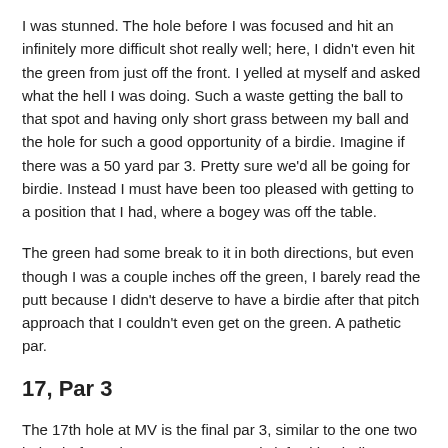I was stunned. The hole before I was focused and hit an infinitely more difficult shot really well; here, I didn't even hit the green from just off the front. I yelled at myself and asked what the hell I was doing. Such a waste getting the ball to that spot and having only short grass between my ball and the hole for such a good opportunity of a birdie. Imagine if there was a 50 yard par 3. Pretty sure we'd all be going for birdie. Instead I must have been too pleased with getting to a position that I had, where a bogey was off the table.
The green had some break to it in both directions, but even though I was a couple inches off the green, I barely read the putt because I didn't deserve to have a birdie after that pitch approach that I couldn't even get on the green. A pathetic par.
17, Par 3
The 17th hole at MV is the final par 3, similar to the one two holes before where you're not exactly left with a bailout area. If you miss to the left of the green, you'll have a 15 foot hill to flop up and over to get to green level. If you miss further to the left you're in a penalty area. A miss to the